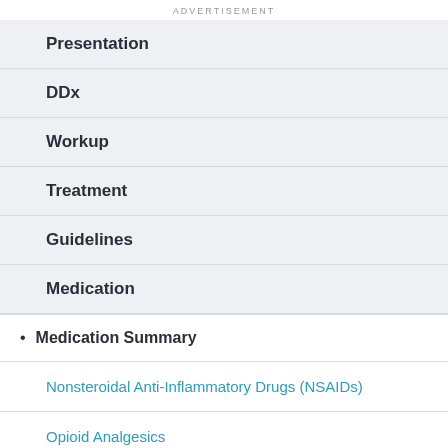ADVERTISEMENT
Presentation
DDx
Workup
Treatment
Guidelines
Medication
Medication Summary
Nonsteroidal Anti-Inflammatory Drugs (NSAIDs)
Opioid Analgesics